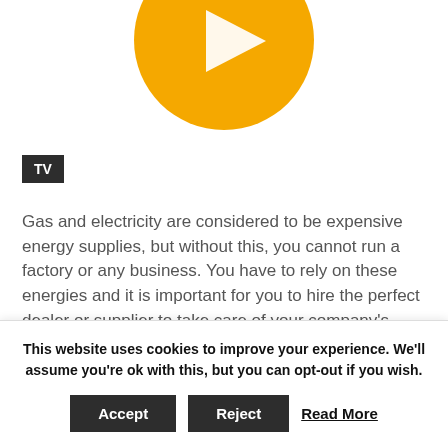[Figure (logo): Orange/yellow circle with a play button triangle inside, partially cropped at top]
TV
Gas and electricity are considered to be expensive energy supplies, but without this, you cannot run a factory or any business. You have to rely on these energies and it is important for you to hire the perfect dealer or supplier to take care of your company's energy supplies and usages. This energy plays a vital role in business platforms. Whatever may be your business you need to spend some money on the energies because you depend on it? Without factories, how can you run a factory, how can the mach
This website uses cookies to improve your experience. We'll assume you're ok with this, but you can opt-out if you wish.
Accept
Reject
Read More